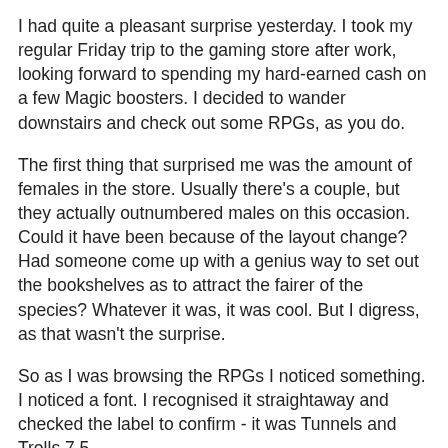I had quite a pleasant surprise yesterday. I took my regular Friday trip to the gaming store after work, looking forward to spending my hard-earned cash on a few Magic boosters. I decided to wander downstairs and check out some RPGs, as you do.
The first thing that surprised me was the amount of females in the store. Usually there's a couple, but they actually outnumbered males on this occasion. Could it have been because of the layout change? Had someone come up with a genius way to set out the bookshelves as to attract the fairer of the species? Whatever it was, it was cool. But I digress, as that wasn't the surprise.
So as I was browsing the RPGs I noticed something. I noticed a font. I recognised it straightaway and checked the label to confirm - it was Tunnels and Trolls 7.5.
Now, this may not seem unusual to many of you, but to me it was a big deal. That store hadn't stocked T&T for around 10 years and now they have it. What's more is that they even had the Delver's Pack too.